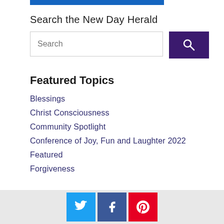Search the New Day Herald
[Figure (other): Search input field with placeholder text 'Search' and a dark purple search button with magnifying glass icon]
Featured Topics
Blessings
Christ Consciousness
Community Spotlight
Conference of Joy, Fun and Laughter 2022
Featured
Forgiveness
[Figure (other): Social media icons: Twitter (blue), Facebook (dark blue), Pinterest (red)]